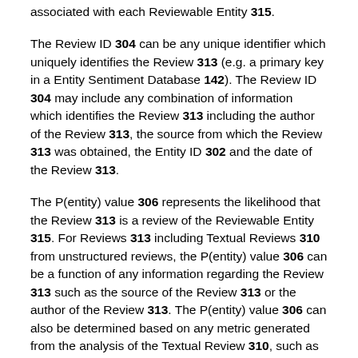associated with each Reviewable Entity 315.
The Review ID 304 can be any unique identifier which uniquely identifies the Review 313 (e.g. a primary key in a Entity Sentiment Database 142). The Review ID 304 may include any combination of information which identifies the Review 313 including the author of the Review 313, the source from which the Review 313 was obtained, the Entity ID 302 and the date of the Review 313.
The P(entity) value 306 represents the likelihood that the Review 313 is a review of the Reviewable Entity 315. For Reviews 313 including Textual Reviews 310 from unstructured reviews, the P(entity) value 306 can be a function of any information regarding the Review 313 such as the source of the Review 313 or the author of the Review 313. The P(entity) value 306 can also be determined based on any metric generated from the analysis of the Textual Review 310, such as the number of times the Reviewable Entity 315 is mentioned in the Textual Review 310. According to the embodiment, the P(entity) value 306 may be a categorical (high, medium, low) or a numeric value. For Reviews 313 obtained from high quality or structured reviews, the P(entity) value 306